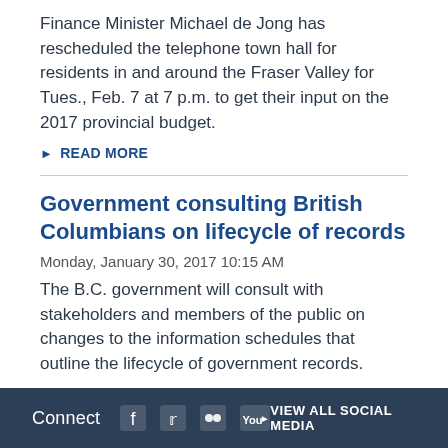Finance Minister Michael de Jong has rescheduled the telephone town hall for residents in and around the Fraser Valley for Tues., Feb. 7 at 7 p.m. to get their input on the 2017 provincial budget.
▶ READ MORE
Government consulting British Columbians on lifecycle of records
Monday, January 30, 2017 10:15 AM
The B.C. government will consult with stakeholders and members of the public on changes to the information schedules that outline the lifecycle of government records.
▶ READ MORE
Connect  VIEW ALL SOCIAL MEDIA